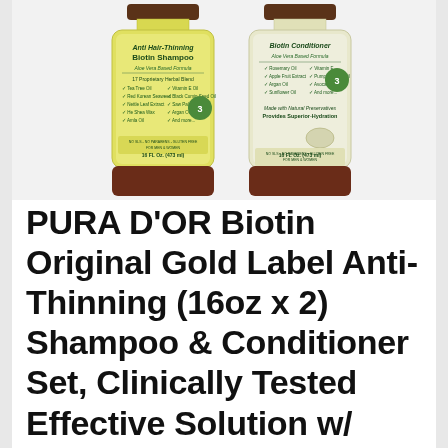[Figure (photo): Two product bottles side by side: PURA D'OR Anti Hair-Thinning Biotin Shampoo (left, yellow-green label) and Biotin Conditioner (right, cream label), both 16 FL Oz (473 ml), with dark brown/maroon bottle bases and caps, on a light gray background.]
PURA D'OR Biotin Original Gold Label Anti-Thinning (16oz x 2) Shampoo & Conditioner Set, Clinically Tested Effective Solution w/ Herbal DHT Ingredients, All Hair Types, Men & Women (Packaging Varies)